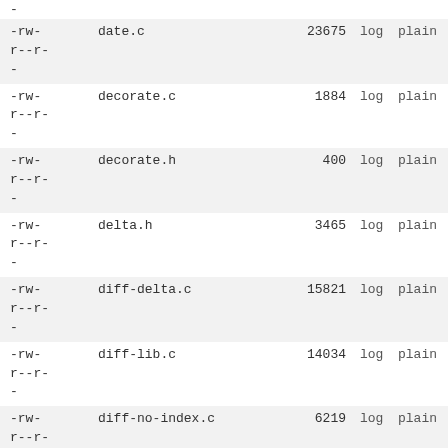| permissions | name | size | log | plain |
| --- | --- | --- | --- | --- |
| -rw-
r--r-
- | date.c | 23675 | log | plain |
| -rw-
r--r-
- | decorate.c | 1884 | log | plain |
| -rw-
r--r-
- | decorate.h | 400 | log | plain |
| -rw-
r--r-
- | delta.h | 3465 | log | plain |
| -rw-
r--r-
- | diff-delta.c | 15821 | log | plain |
| -rw-
r--r-
- | diff-lib.c | 14034 | log | plain |
| -rw-
r--r-
- | diff-no-index.c | 6219 | log | plain |
| -rw-
r--r-
- | diff.c | 127374 | log | plain |
| -rw-
r--r-
- | diff.h | 10801 | log | plain |
| -rw |  |  |  |  |